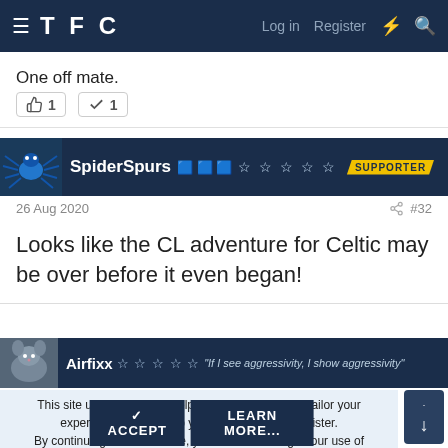TFC  Log in  Register
One off mate.
👍 1   ✓ 1
SpiderSpurs 🏆🏆🏆🏆🏆 SUPPORTER
26 Aug 2020  #32
Looks like the CL adventure for Celtic may be over before it even began!
Airfixx 🏆🏆🏆🏆🏆 "If I see aggressivity, I show aggressivity"
This site uses cookies to help personalise content, tailor your experience and to keep you logged in if you register.
By continuing to use this site, you are consenting to our use of cookies.
✓ ACCEPT   LEARN MORE...